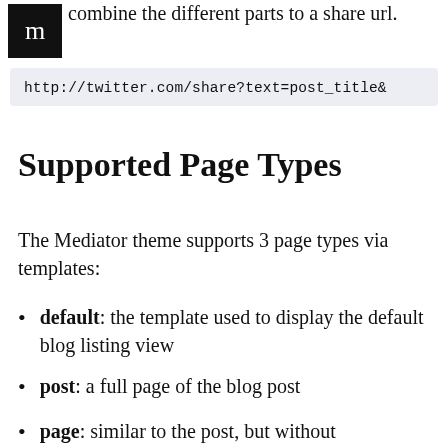combine the different parts to a share url.
[Figure (logo): Black square logo with white lowercase letter m]
http://twitter.com/share?text=post_title&
Supported Page Types
The Mediator theme supports 3 page types via templates:
default: the template used to display the default blog listing view
post: a full page of the blog post
page: similar to the post, but without